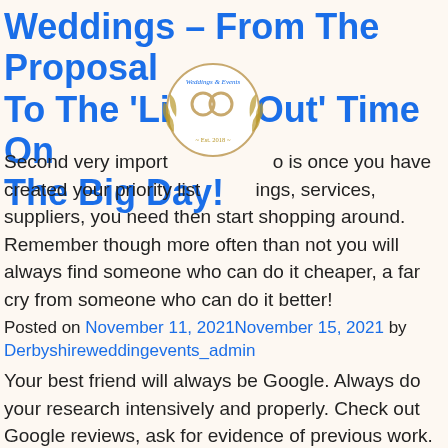Weddings – From The Proposal To The 'Lights Out' Time On The Big Day!
[Figure (logo): Circular logo for Weddings & Events with two rings and laurel wreath design]
Second very important thing to do is once you have created your priority list of things, services, suppliers, you need then start shopping around. Remember though more often than not you will always find someone who can do it cheaper, a far cry from someone who can do it better!
Posted on November 11, 2021November 15, 2021 by Derbyshireweddingevents_admin
Your best friend will always be Google. Always do your research intensively and properly. Check out Google reviews, ask for evidence of previous work. Speak to venues, get their take as to whether they ever worked or heard of the supplier you are considering to hire.